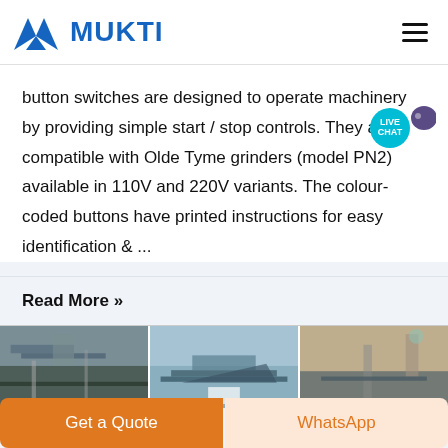[Figure (logo): Mukti company logo with blue mountain/M shape and blue bold MUKTI text]
button switches are designed to operate machinery by providing simple start / stop controls. They are compatible with Olde Tyme grinders (model PN2) available in 110V and 220V variants. The colour-coded buttons have printed instructions for easy identification & ...
Read More »
[Figure (photo): Three industrial/mining site photos side by side showing construction equipment and conveyor belts]
Get a Quote
WhatsApp